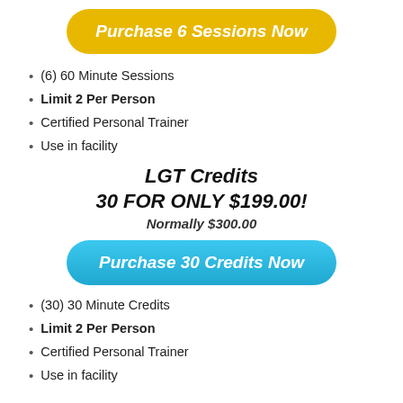[Figure (other): Yellow rounded button labeled 'Purchase 6 Sessions Now']
(6) 60 Minute Sessions
Limit 2 Per Person
Certified Personal Trainer
Use in facility
LGT Credits
30 FOR ONLY $199.00!
Normally $300.00
[Figure (other): Blue rounded button labeled 'Purchase 30 Credits Now']
(30) 30 Minute Credits
Limit 2 Per Person
Certified Personal Trainer
Use in facility